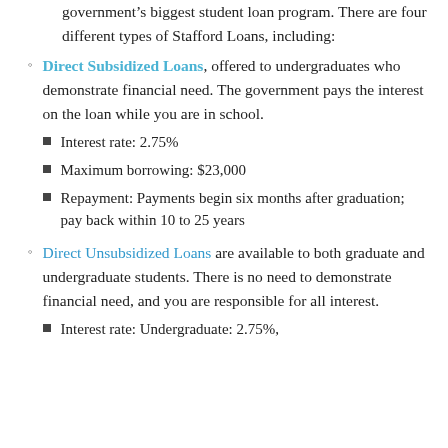government’s biggest student loan program. There are four different types of Stafford Loans, including:
Direct Subsidized Loans, offered to undergraduates who demonstrate financial need. The government pays the interest on the loan while you are in school.
- Interest rate: 2.75%
- Maximum borrowing: $23,000
- Repayment: Payments begin six months after graduation; pay back within 10 to 25 years
Direct Unsubsidized Loans are available to both graduate and undergraduate students. There is no need to demonstrate financial need, and you are responsible for all interest.
- Interest rate: Undergraduate: 2.75%,